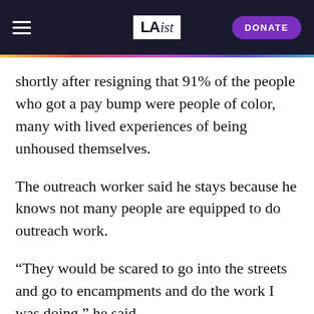LAist | DONATE
shortly after resigning that 91% of the people who got a pay bump were people of color, many with lived experiences of being unhoused themselves.
The outreach worker said he stays because he knows not many people are equipped to do outreach work.
“They would be scared to go into the streets and go to encampments and do the work I was doing,” he said.
Hit With Reality